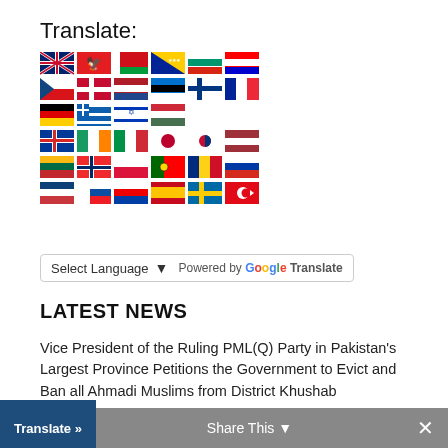Translate:
[Figure (illustration): Grid of country flag icons for language selection: UK, Albania, Belarus, Bosnia, Bulgaria, Croatia, Czech, Denmark, Netherlands, Estonia, Finland, France, Germany, Greece, Israel, Hungary, Iceland, Ireland, Italy, Japan, Korea, Latvia, Lithuania, Norway, Poland, Portugal, Romania, Russia, Serbia, Slovakia, Slovenia, Spain, Sweden, Turkey]
Select Language ▾  Powered by Google Translate
LATEST NEWS
Vice President of the Ruling PML(Q) Party in Pakistan's Largest Province Petitions the Government to Evict and Ban all Ahmadi Muslims from District Khushab
Call for submissions International Commission of Human Rights Experts on Ethiopia
Canadian ahmadi muslim politician falls foul of anti-…s in Pakistan
Translate »   Share This ⌄   ×